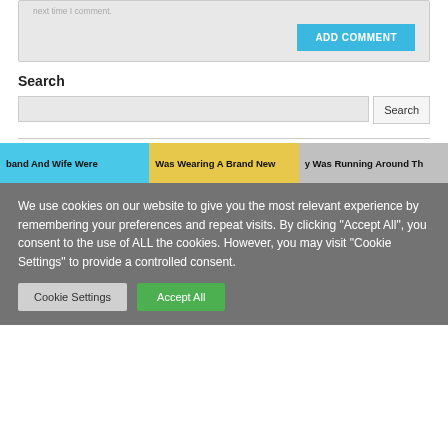next time I comment.
ADD COMMENT
Search
Search
[Figure (screenshot): Three partially visible banner thumbnails with colored backgrounds and text: 'band And Wife Were', 'Was Wearing A Brand New', 'y Was Running Around Th']
We use cookies on our website to give you the most relevant experience by remembering your preferences and repeat visits. By clicking “Accept All”, you consent to the use of ALL the cookies. However, you may visit "Cookie Settings" to provide a controlled consent.
Cookie Settings
Accept All